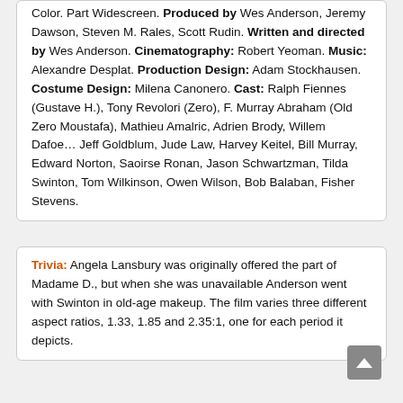Color. Part Widescreen. Produced by Wes Anderson, Jeremy Dawson, Steven M. Rales, Scott Rudin. Written and directed by Wes Anderson. Cinematography: Robert Yeoman. Music: Alexandre Desplat. Production Design: Adam Stockhausen. Costume Design: Milena Canonero. Cast: Ralph Fiennes (Gustave H.), Tony Revolori (Zero), F. Murray Abraham (Old Zero Moustafa), Mathieu Amalric, Adrien Brody, Willem Dafoe… Jeff Goldblum, Jude Law, Harvey Keitel, Bill Murray, Edward Norton, Saoirse Ronan, Jason Schwartzman, Tilda Swinton, Tom Wilkinson, Owen Wilson, Bob Balaban, Fisher Stevens.
Trivia: Angela Lansbury was originally offered the part of Madame D., but when she was unavailable Anderson went with Swinton in old-age makeup. The film varies three different aspect ratios, 1.33, 1.85 and 2.35:1, one for each period it depicts.